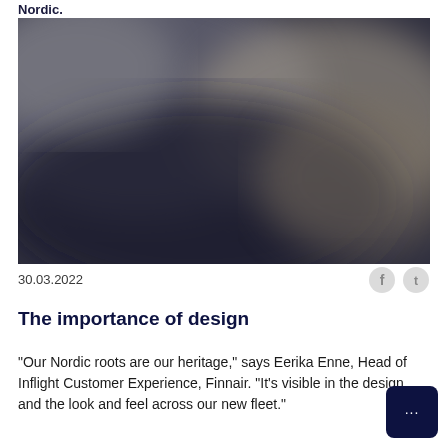Nordic.
[Figure (photo): A blurred dark photograph showing an aircraft interior or exterior scene with soft dark grey and beige tones, heavily blurred/out of focus.]
30.03.2022
The importance of design
"Our Nordic roots are our heritage," says Eerika Enne, Head of Inflight Customer Experience, Finnair. "It's visible in the design and the look and feel across our new fleet."